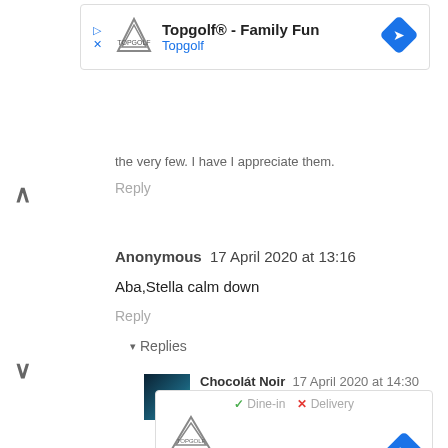[Figure (screenshot): Topgolf advertisement banner with logo, title 'Topgolf® - Family Fun', subtitle 'Topgolf', navigation arrow icon, play and close controls]
the very few. I have I appreciate them.
Reply
Anonymous  17 April 2020 at 13:16
Aba,Stella calm down
Reply
▾ Replies
Chocolát Noir  17 April 2020 at 14:30
🙈😂🙈 lmao 🙈
I got confused lmao
[Figure (screenshot): Second Topgolf advertisement banner with Dine-in/Delivery options, logo, play and close controls, and navigation arrow icon]